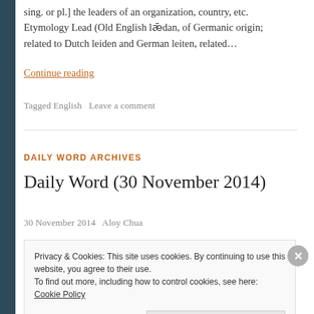sing. or pl.] the leaders of an organization, country, etc. Etymology Lead (Old English lǣdan, of Germanic origin; related to Dutch leiden and German leiten, related…
Continue reading
Tagged English   Leave a comment
DAILY WORD ARCHIVES
Daily Word (30 November 2014)
30 November 2014   Aloy Chua
Privacy & Cookies: This site uses cookies. By continuing to use this website, you agree to their use. To find out more, including how to control cookies, see here: Cookie Policy   Close and accept